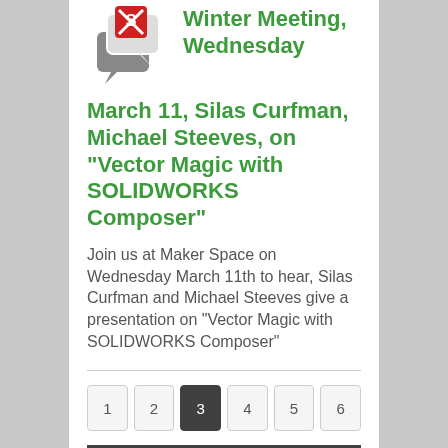[Figure (logo): SOLIDWORKS Composer logo with speech bubbles icon]
Winter Meeting, Wednesday March 11, Silas Curfman, Michael Steeves, on “Vector Magic with SOLIDWORKS Composer”
Join us at Maker Space on Wednesday March 11th to hear, Silas Curfman and Michael Steeves give a presentation on “Vector Magic with SOLIDWORKS Composer”
1 2 3 4 5 6